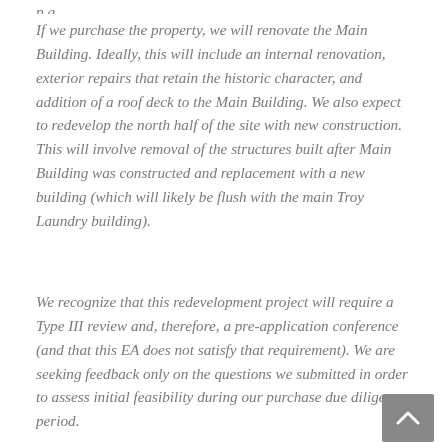p g
If we purchase the property, we will renovate the Main Building. Ideally, this will include an internal renovation, exterior repairs that retain the historic character, and addition of a roof deck to the Main Building. We also expect to redevelop the north half of the site with new construction. This will involve removal of the structures built after Main Building was constructed and replacement with a new building (which will likely be flush with the main Troy Laundry building).
We recognize that this redevelopment project will require a Type III review and, therefore, a pre-application conference (and that this EA does not satisfy that requirement). We are seeking feedback only on the questions we submitted in order to assess initial feasibility during our purchase due diligence period.